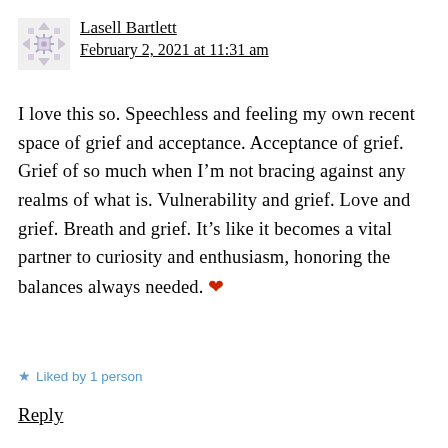[Figure (illustration): Snowflake/geometric avatar icon in light gray]
Lasell Bartlett
February 2, 2021 at 11:31 am
I love this so. Speechless and feeling my own recent space of grief and acceptance. Acceptance of grief. Grief of so much when I'm not bracing against any realms of what is. Vulnerability and grief. Love and grief. Breath and grief. It's like it becomes a vital partner to curiosity and enthusiasm, honoring the balances always needed. ❤
★ Liked by 1 person
Reply